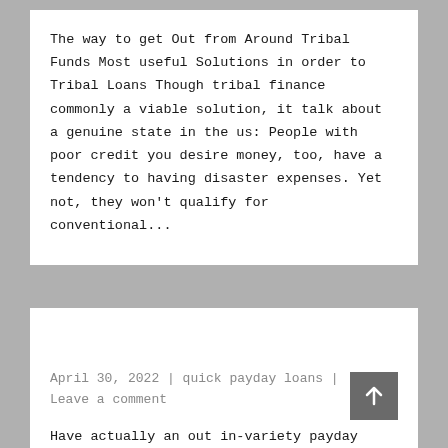The way to get Out from Around Tribal Funds Most useful Solutions in order to Tribal Loans Though tribal finance commonly a viable solution, it talk about a genuine state in the us: People with poor credit you desire money, too, have a tendency to having disaster expenses. Yet not, they won't qualify for conventional...
April 30, 2022 | quick payday loans | Leave a comment
Have actually an out in-variety payday loans when you look at the Appleton, WI